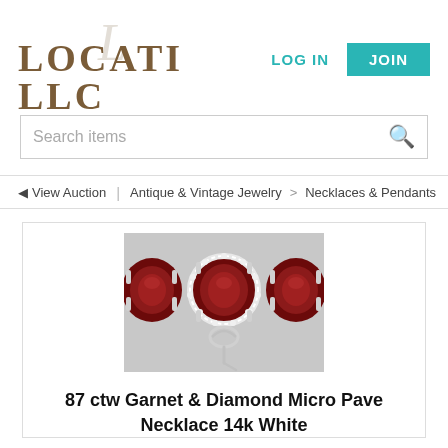[Figure (logo): Locati LLC logo with decorative script L and uppercase serif text]
LOG IN
JOIN
Search items
◄ View Auction  |  Antique & Vintage Jewelry  >  Necklaces & Pendants
[Figure (photo): Close-up photo of a garnet and diamond micro pave necklace in 14k white gold, showing large cushion-cut dark red garnets with a diamond-encrusted clasp/centerpiece]
87 ctw Garnet & Diamond Micro Pave Necklace 14k White